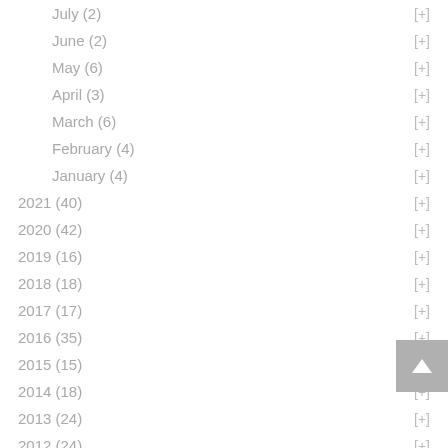July (2) [+]
June (2) [+]
May (6) [+]
April (3) [+]
March (6) [+]
February (4) [+]
January (4) [+]
2021 (40) [+]
2020 (42) [+]
2019 (16) [+]
2018 (18) [+]
2017 (17) [+]
2016 (35) [+]
2015 (15) [+]
2014 (18) [+]
2013 (24) [+]
2012 (24) [+]